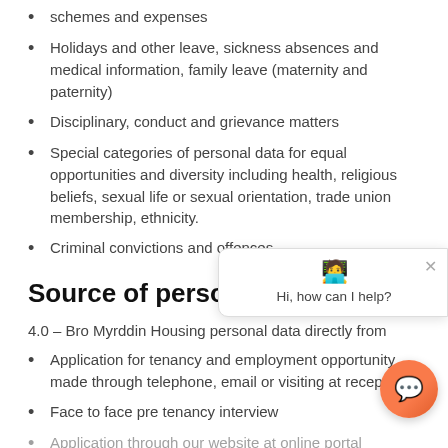schemes and expenses
Holidays and other leave, sickness absences and medical information, family leave (maternity and paternity)
Disciplinary, conduct and grievance matters
Special categories of personal data for equal opportunities and diversity including health, religious beliefs, sexual life or sexual orientation, trade union membership, ethnicity.
Criminal convictions and offences.
Source of personal data
4.0 – Bro Myrddin Housing personal data directly from
Application for tenancy and employment opportunity made through telephone, email or visiting at reception
Face to face pre tenancy interview
Application through our website at online portal